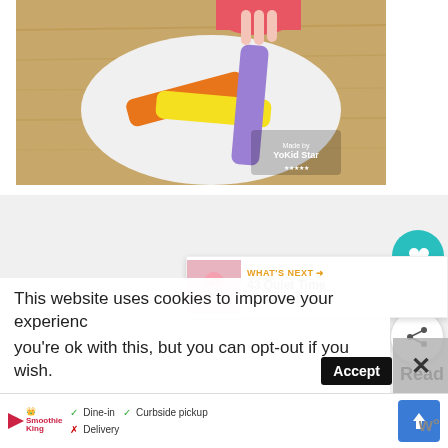[Figure (photo): Child's hands placing colorful paper strips (orange, yellow, purple) on a white oval paper plate on a wooden table. Craft activity photo with a watermark logo in the lower right corner.]
[Figure (screenshot): Gray area with social media interaction buttons: a teal heart/like button, a count label showing 12.2K, and a white share button with share icon.]
WHAT'S NEXT →
43 Quiet Time Activities for...
This website uses cookies to improve your experience.
you're ok with this, but you can opt-out if you wish.
Accept
Read
✓ Dine-in  ✓ Curbside pickup
✗ Delivery